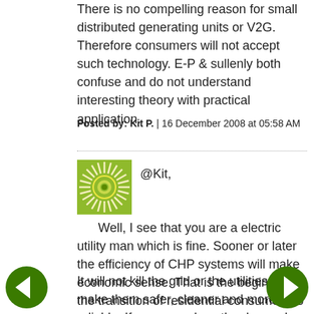There is no compelling reason for small distributed generating units or V2G. Therefore consumers will not accept such technology. E-P & sullenly both confuse and do not understand interesting theory with practical application.
Posted by: Kit P. | 16 December 2008 at 05:58 AM
[Figure (illustration): Green/yellow sunburst avatar icon]
@Kit,

Well, I see that you are a electric utility man which is fine. Sooner or later the efficiency of CHP systems will make economic sense. That is the beginning of the transition of residential consumers to self-contained power systems or RPUs.
It will not kill the grid or the utilities. It will make them safer, cleaner and more reliable. If we can reduce the demand on grid by nearly 1/3 the use of alternative resources will be better applied.
[Figure (illustration): Green left arrow navigation button]
[Figure (illustration): Green right arrow navigation button]